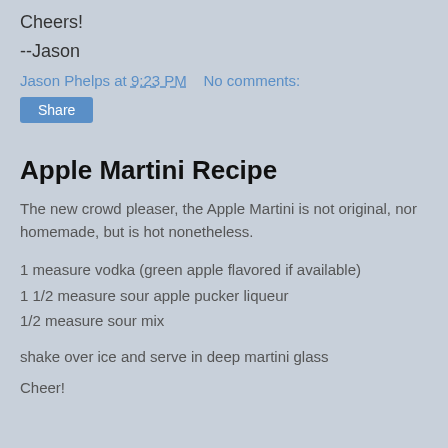Cheers!
--Jason
Jason Phelps at 9:23 PM   No comments:
Share
Apple Martini Recipe
The new crowd pleaser, the Apple Martini is not original, nor homemade, but is hot nonetheless.
1 measure vodka (green apple flavored if available)
1 1/2 measure sour apple pucker liqueur
1/2 measure sour mix
shake over ice and serve in deep martini glass
Cheer!